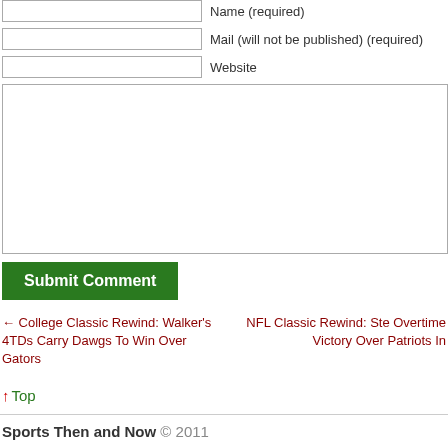Name (required)
Mail (will not be published) (required)
Website
Submit Comment
← College Classic Rewind: Walker's 4TDs Carry Dawgs To Win Over Gators
NFL Classic Rewind: Ste Overtime Victory Over Patriots In
↑ Top
Sports Then and Now © 2011